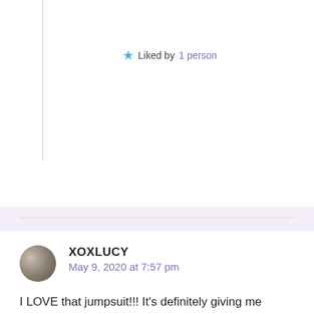★ Liked by 1 person
XOXLUCY
May 9, 2020 at 7:57 pm
I LOVE that jumpsuit!!! It's definitely giving me summer vibes.
★ Liked by 1 person
Reply →
EMILY M